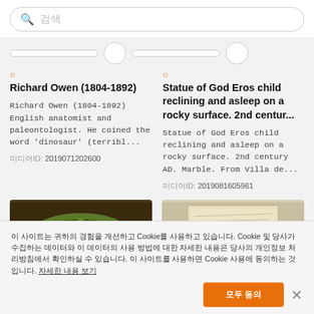검색 (search bar placeholder)
tab pills row
Richard Owen (1804-1892)
Richard Owen (1804-1892) English anatomist and paleontologist. He coined the word 'dinosaur' (terribl...
미디어ID: 2019071202600
Statue of God Eros child reclining and asleep on a rocky surface. 2nd centur...
Statue of God Eros child reclining and asleep on a rocky surface. 2nd century AD. Marble. From Villa de...
미디어ID: 2019081605961
[Figure (photo): Dark background image showing a decorative wreath object]
[Figure (photo): Parchment document image with handwritten text]
이 사이트는 귀하의 경험을 개선하고 Cookie를 사용하고 있습니다. Cookie 및 당사가 수집하는 데이터와 이 데이터의 사용 방법에 대한 자세한 내용은 당사의 개인정보 처리방침에서 확인하실 수 있습니다. 이 사이트를 사용하면 Cookie 사용에 동의하는 것입니다. 자세한 내용 보기
모두 동의